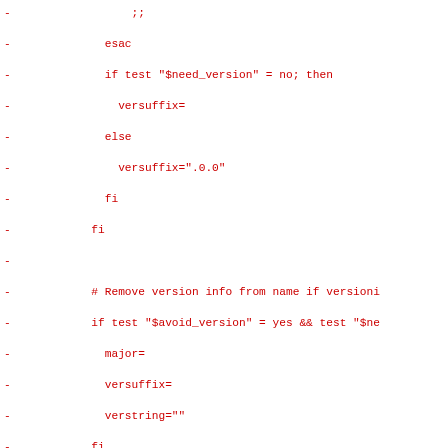diff/patch output showing removed lines of shell script code related to versioning and library linking logic